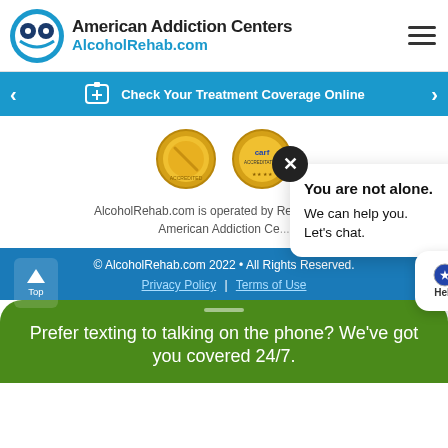[Figure (logo): American Addiction Centers / AlcoholRehab.com logo with circular icon]
Check Your Treatment Coverage Online
[Figure (photo): Two circular accreditation badges - a gold medal and a CARF accreditation seal]
AlcoholRehab.com is operated by Recovery ... ry of American Addiction Ce...
You are not alone. We can help you. Let's chat.
Help
© AlcoholRehab.com 2022 • All Rights Reserved.
Privacy Policy | Terms of Use
Prefer texting to talking on the phone? We've got you covered 24/7.